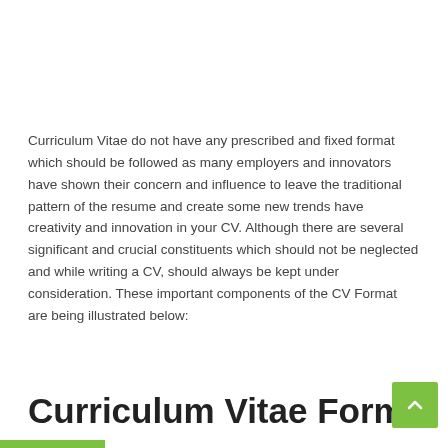Curriculum Vitae do not have any prescribed and fixed format which should be followed as many employers and innovators have shown their concern and influence to leave the traditional pattern of the resume and create some new trends have creativity and innovation in your CV. Although there are several significant and crucial constituents which should not be neglected and while writing a CV, should always be kept under consideration. These important components of the CV Format are being illustrated below:
Curriculum Vitae Format